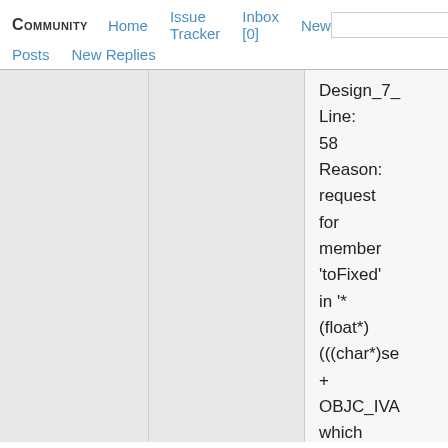COMMUNITY   Home   Issue Tracker   Inbox [0]   New
Posts   New Replies   [Search]
Design_7_
Line:
58
Reason:
request
for
member
'toFixed'
in '*
(float*)
(((char*)se
+
OBJC_IVA
which
is of
non-
class